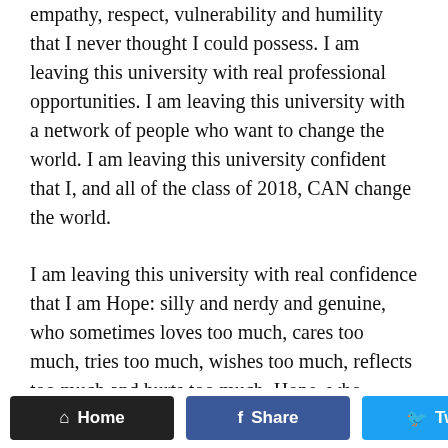empathy, respect, vulnerability and humility that I never thought I could possess. I am leaving this university with real professional opportunities. I am leaving this university with a network of people who want to change the world. I am leaving this university confident that I, and all of the class of 2018, CAN change the world.
I am leaving this university with real confidence that I am Hope: silly and nerdy and genuine, who sometimes loves too much, cares too much, tries too much, wishes too much, reflects too much and hurts too much. Hope, who discovers new passions all the time, loves to write, finds fun in going on crazy travel adventures, trying difficult fitness classes, and eating
Home  Share  Tweet